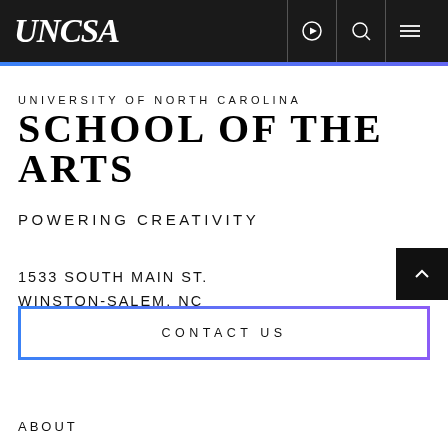UNCSA
UNIVERSITY OF NORTH CAROLINA
SCHOOL OF THE ARTS
POWERING CREATIVITY
1533 SOUTH MAIN ST.
WINSTON-SALEM, NC
27127-2738
CONTACT US
ABOUT